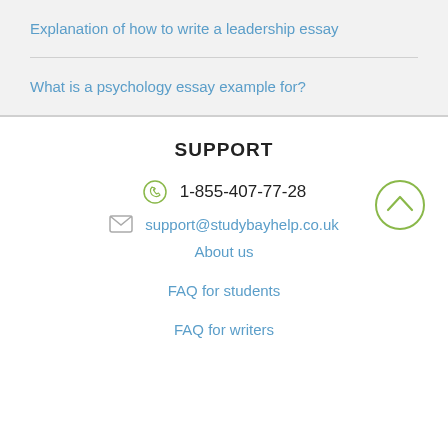Explanation of how to write a leadership essay
What is a psychology essay example for?
SUPPORT
1-855-407-77-28
support@studybayhelp.co.uk
About us
FAQ for students
FAQ for writers